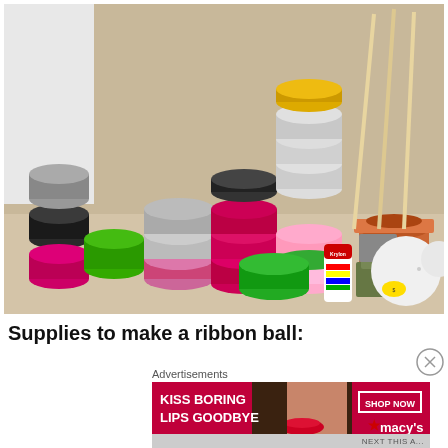[Figure (photo): A photo showing craft supplies for making a ribbon ball: multiple spools of ribbon in various colors (pink, green, silver, black, white, patterned), a terracotta pot, wooden dowels/sticks, a can of Krylon spray paint, green floral foam blocks, and two white styrofoam balls, all arranged on a surface against a beige wall.]
Supplies to make a ribbon ball:
Advertisements
[Figure (photo): Advertisement banner for Macy's: red background with white text reading 'KISS BORING LIPS GOODBYE', a photo of a woman's face with red lipstick, a 'SHOP NOW' box outline, and the Macy's logo with a red star.]